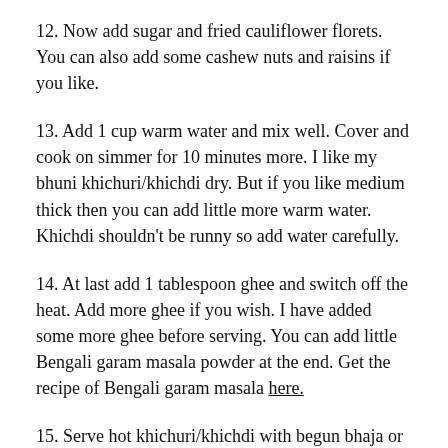12. Now add sugar and fried cauliflower florets. You can also add some cashew nuts and raisins if you like.
13. Add 1 cup warm water and mix well. Cover and cook on simmer for 10 minutes more. I like my bhuni khichuri/khichdi dry. But if you like medium thick then you can add little more warm water. Khichdi shouldn't be runny so add water carefully.
14. At last add 1 tablespoon ghee and switch off the heat. Add more ghee if you wish. I have added some more ghee before serving. You can add little Bengali garam masala powder at the end. Get the recipe of Bengali garam masala here.
15. Serve hot khichuri/khichdi with begun bhaja or beguni or baigan pakoda, labra, Dum aloo , tomato